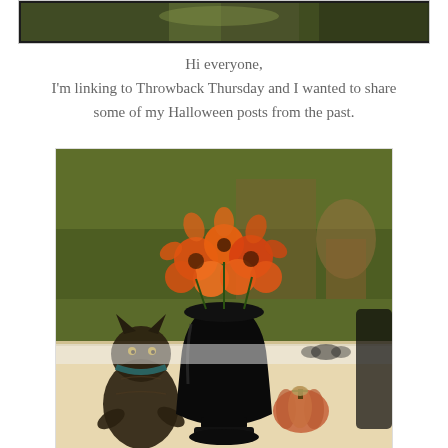[Figure (photo): Partial top image showing what appears to be an outdoor or garden scene with dark border/frame, cropped at top of page]
Hi everyone,
I'm linking to Throwback Thursday and I wanted to share some of my Halloween posts from the past.
[Figure (photo): Halloween decoration photo showing orange flowers (marigolds/zinnias) in a black vase/urn, a black cat figurine on the left, a small orange fabric pumpkin with twine bow in the foreground, on a table with Halloween-themed runner, with garden background]